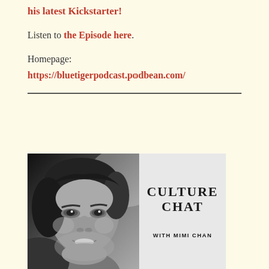his latest Kickstarter!
Listen to the Episode here.
Homepage:
https://bluetigerpodcast.podbean.com/
[Figure (photo): Podcast cover image for 'Culture Chat with Mimi Chan' showing a black and white photo of a woman smiling, with the text 'CULTURE CHAT with MIMI CHAN' on the right side]